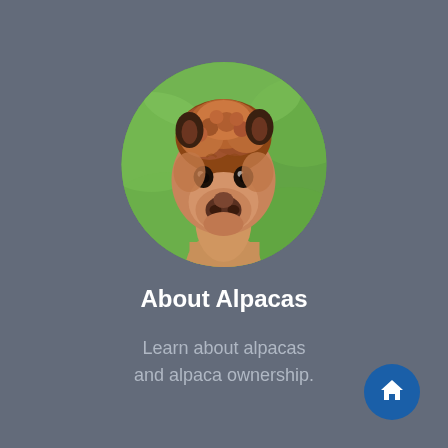[Figure (photo): A circular cropped photo of an alpaca's face close-up, with brown fluffy fur and a green blurred background.]
About Alpacas
Learn about alpacas and alpaca ownership.
[Figure (illustration): A circular blue button with a white house/home icon in the bottom-right corner.]